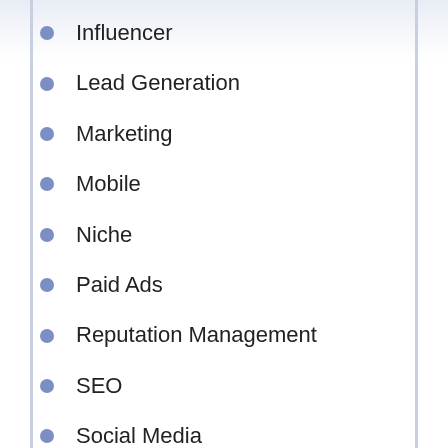Influencer
Lead Generation
Marketing
Mobile
Niche
Paid Ads
Reputation Management
SEO
Social Media
Traffic
Uncategorized